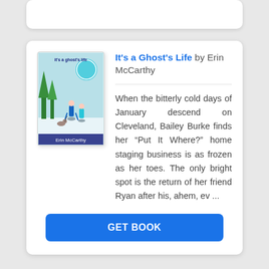[Figure (illustration): Book cover for 'It's a Ghost's Life' by Erin McCarthy showing people ice skating in winter.]
It's a Ghost's Life by Erin McCarthy
When the bitterly cold days of January descend on Cleveland, Bailey Burke finds her “Put It Where?” home staging business is as frozen as her toes. The only bright spot is the return of her friend Ryan after his, ahem, ev ...
GET BOOK